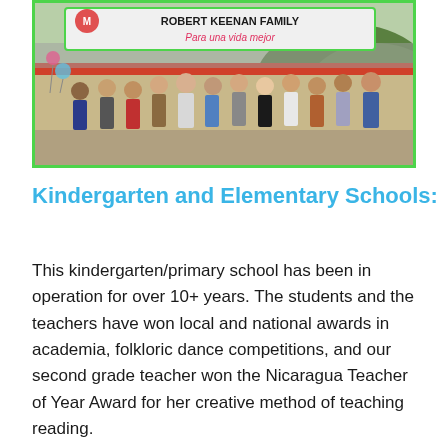[Figure (photo): Group photo of approximately 12 people standing under a banner that reads 'ROBERT KEENAN FAMILY Para una vida mejor' at what appears to be a school or community building with hills in the background.]
Kindergarten and Elementary Schools:
This kindergarten/primary school has been in operation for over 10+ years. The students and the teachers have won local and national awards in academia, folkloric dance competitions, and our second grade teacher won the Nicaragua Teacher of Year Award for her creative method of teaching reading.